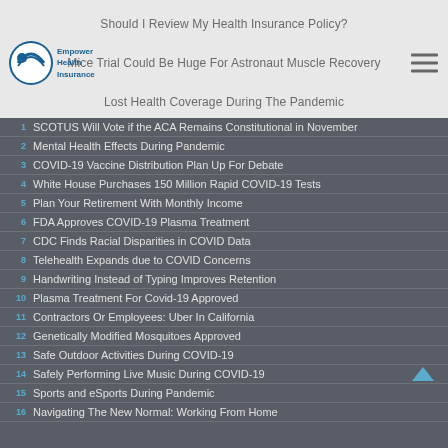Should I Review My Health Insurance Policy?
Mice Trial Could Be Huge For Astronaut Muscle Recovery
Lost Health Coverage During The Pandemic
1. SCOTUS Will Vote if the ACA Remains Constitutional in November
2. Mental Health Effects During Pandemic
3. COVID-19 Vaccine Distribution Plan Up For Debate
4. White House Purchases 150 Million Rapid COVID-19 Tests
5. Plan Your Retirement With Monthly Income
6. FDA Approves COVID-19 Plasma Treatment
7. CDC Finds Racial Disparities in COVID Data
8. Telehealth Expands due to COVID Concerns
9. Handwriting Instead of Typing Improves Retention
10. Plasma Treatment For Covid-19 Approved
11. Contractors Or Employees: Uber In California
12. Genetically Modified Mosquitoes Approved
13. Safe Outdoor Activities During COVID-19
14. Safely Performing Live Music During COVID-19
15. Sports and eSports During Pandemic
16. Navigating The New Normal: Working From Home